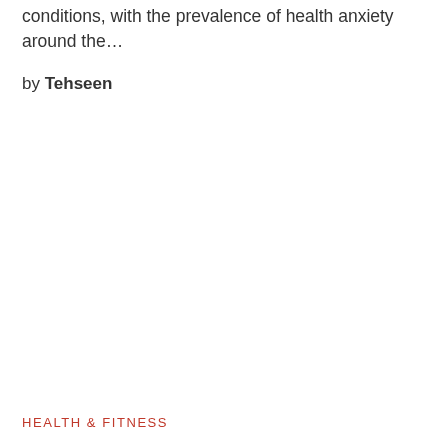conditions, with the prevalence of health anxiety around the…
by Tehseen
HEALTH & FITNESS